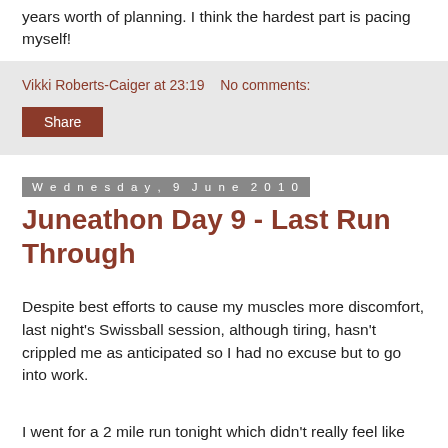years worth of planning. I think the hardest part is pacing myself!
Vikki Roberts-Caiger at 23:19   No comments:
Share
Wednesday, 9 June 2010
Juneathon Day 9 - Last Run Through
Despite best efforts to cause my muscles more discomfort, last night's Swissball session, although tiring, hasn't crippled me as anticipated so I had no excuse but to go into work.
I went for a 2 mile run tonight which didn't really feel like too much work but I guess I need to take it easy in view of the race on Sunday. I haven't managed to fit in a 6 miler in my training. Thanks to the physio (which really does seem to be doing the trick) I've not run as much as I normally would in preparation but I know I'm capable of the distance so if I